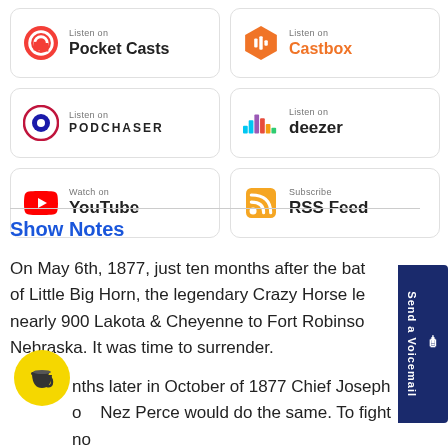[Figure (other): Pocket Casts listen button]
[Figure (other): Castbox listen button]
[Figure (other): Podchaser listen button]
[Figure (other): Deezer listen button]
[Figure (other): YouTube watch button]
[Figure (other): RSS Feed subscribe button]
Show Notes
On May 6th, 1877, just ten months after the battle of Little Big Horn, the legendary Crazy Horse led nearly 900 Lakota & Cheyenne to Fort Robinson, Nebraska. It was time to surrender.
Months later in October of 1877 Chief Joseph of the Nez Perce would do the same. To fight no more, forever.